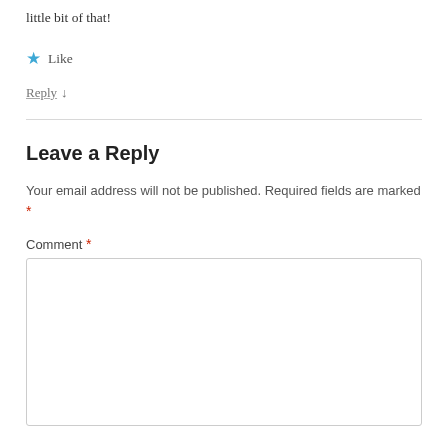little bit of that!
★ Like
Reply ↓
Leave a Reply
Your email address will not be published. Required fields are marked *
Comment *
[Figure (other): Empty comment text area input box]